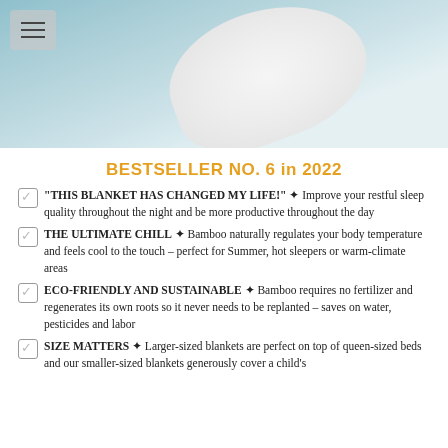[Figure (photo): Person lying in bed covered with a light blue quilted bamboo blanket and white pillow, with a hamburger menu icon in top left corner]
BESTSELLER NO. 6 in 2022
"THIS BLANKET HAS CHANGED MY LIFE!" ✦ Improve your restful sleep quality throughout the night and be more productive throughout the day
THE ULTIMATE CHILL ✦ Bamboo naturally regulates your body temperature and feels cool to the touch – perfect for Summer, hot sleepers or warm-climate areas
ECO-FRIENDLY AND SUSTAINABLE ✦ Bamboo requires no fertilizer and regenerates its own roots so it never needs to be replanted – saves on water, pesticides and labor
SIZE MATTERS ✦ Larger-sized blankets are perfect on top of queen-sized beds and our smaller-sized blankets generously cover a child's